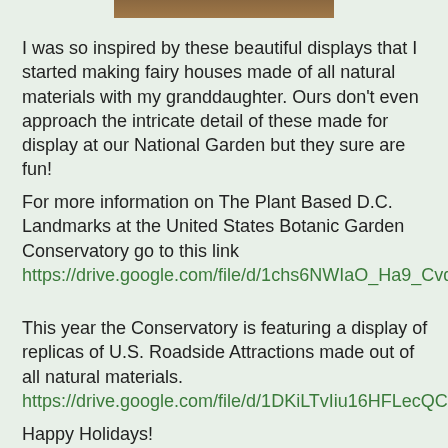[Figure (photo): Partial image of a fairy house or garden display at the top of the page]
I was so inspired by these beautiful displays that I started making fairy houses made of all natural materials with my granddaughter.  Ours don't even approach the intricate detail of these made for display at our National Garden but they sure are fun!
For more information on The Plant Based D.C. Landmarks at the United States Botanic Garden Conservatory go to this link https://drive.google.com/file/d/1chs6NWIaO_Ha9_CvdKDUJXtuw2LXrET-/view
This year the Conservatory is featuring a display of replicas of U.S. Roadside Attractions made out of all natural materials. https://drive.google.com/file/d/1DKiLTvIiu16HFLecQCPjHIQrhL8f2AZW/view
Happy Holidays!